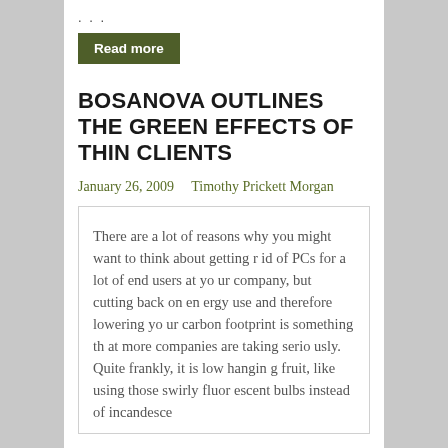...
Read more
BOSANOVA OUTLINES THE GREEN EFFECTS OF THIN CLIENTS
January 26, 2009    Timothy Prickett Morgan
There are a lot of reasons why you might want to think about getting r id of PCs for a lot of end users at yo ur company, but cutting back on en ergy use and therefore lowering yo ur carbon footprint is something th at more companies are taking serio usly. Quite frankly, it is low hangin g fruit, like using those swirly fluor escent bulbs instead of incandesce